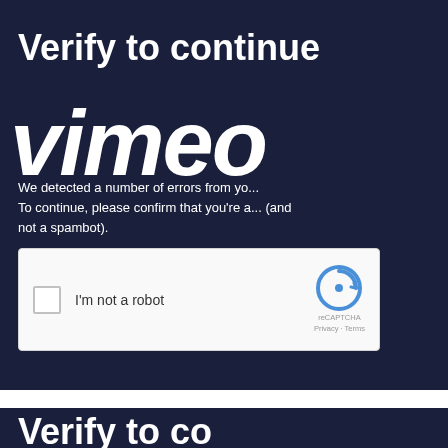Verify to continue
[Figure (logo): Vimeo logo in large white stylized text overlaid on dark navy background]
We detected a number of errors from your connection. To continue, please confirm that you’re a human (and not a spambot).
[Figure (screenshot): reCAPTCHA widget with checkbox labeled I'm not a robot and reCAPTCHA branding with Privacy and Terms links]
Verify to continue